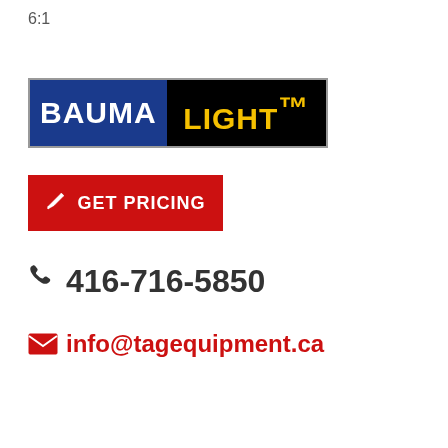6:1
[Figure (logo): BaumaLight logo — blue background with white bold text 'BAUMA' and black background with yellow bold text 'LIGHT' and TM mark]
GET PRICING
416-716-5850
info@tagequipment.ca